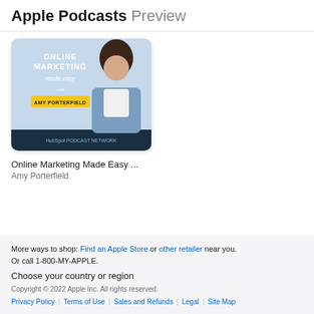Apple Podcasts Preview
[Figure (illustration): Podcast cover art for 'Online Marketing Made Easy with Amy Porterfield' on HubSpot Podcast Network. Shows a woman with dark hair in a blue blazer against a light blue background, with the show title in white and a yellow banner with 'AMY PORTERFIELD'.]
Online Marketing Made Easy ...
Amy Porterfield
More ways to shop: Find an Apple Store or other retailer near you. Or call 1-800-MY-APPLE.

Choose your country or region

Copyright © 2022 Apple Inc. All rights reserved.
Privacy Policy | Terms of Use | Sales and Refunds | Legal | Site Map